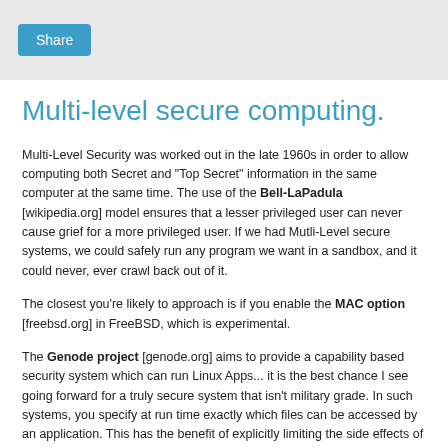Share
Multi-level secure computing.
Multi-Level Security was worked out in the late 1960s in order to allow computing both Secret and "Top Secret" information in the same computer at the same time. The use of the Bell-LaPadula [wikipedia.org] model ensures that a lesser privileged user can never cause grief for a more privileged user. If we had Mutli-Level secure systems, we could safely run any program we want in a sandbox, and it could never, ever crawl back out of it.
The closest you're likely to approach is if you enable the MAC option [freebsd.org] in FreeBSD, which is experimental.
The Genode project [genode.org] aims to provide a capability based security system which can run Linux Apps... it is the best chance I see going forward for a truly secure system that isn't military grade. In such systems, you specify at run time exactly which files can be accessed by an application. This has the benefit of explicitly limiting the side effects of said application, and thus making for a far more secure system. You might